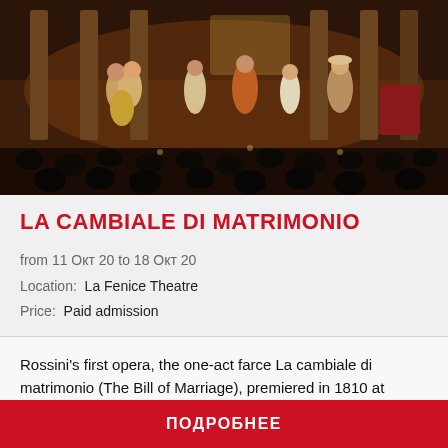[Figure (photo): Opera performance on stage at La Fenice Theatre: several costumed singers on a classical stage set with columns, orchestra in foreground silhouetted audience]
LA CAMBIALE DI MATRIMONIO
from 11 Окт 20 to 18 Окт 20
Location:  La Fenice Theatre
Price:  Paid admission
Rossini's first opera, the one-act farce La cambiale di matrimonio (The Bill of Marriage), premiered in 1810 at Venice's Teatro San Moisè. Composed in a few days when he was 18 years old...
ПОДРОБНЕЕ